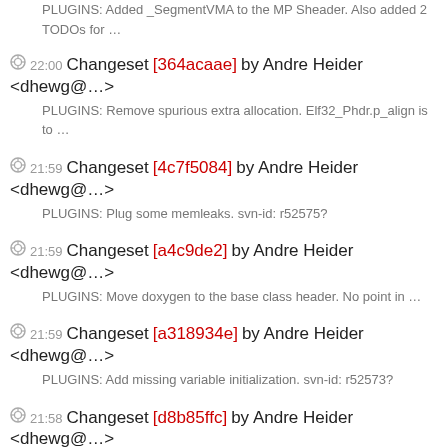PLUGINS: Added _SegmentVMA to the MF Sheader. Also added 2 TODOs for …
22:00 Changeset [364acaae] by Andre Heider <dhewg@…>
PLUGINS: Remove spurious extra allocation. Elf32_Phdr.p_align is to …
21:59 Changeset [4c7f5084] by Andre Heider <dhewg@…>
PLUGINS: Plug some memleaks. svn-id: r52575?
21:59 Changeset [a4c9de2] by Andre Heider <dhewg@…>
PLUGINS: Move doxygen to the base class header. No point in …
21:59 Changeset [a318934e] by Andre Heider <dhewg@…>
PLUGINS: Add missing variable initialization. svn-id: r52573?
21:58 Changeset [d8b85ffc] by Andre Heider <dhewg@…>
PLUGINS: Formatting. Misformatted casts in an earlier …